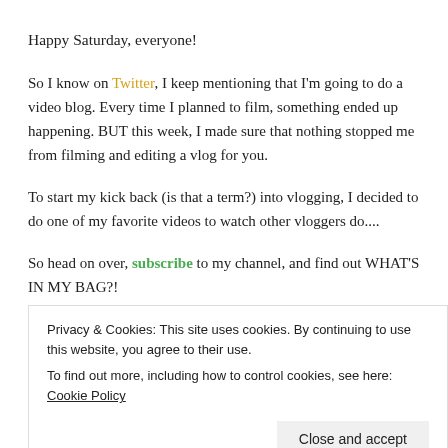Happy Saturday, everyone!
So I know on Twitter, I keep mentioning that I'm going to do a video blog. Every time I planned to film, something ended up happening. BUT this week, I made sure that nothing stopped me from filming and editing a vlog for you.
To start my kick back (is that a term?) into vlogging, I decided to do one of my favorite videos to watch other vloggers do....
So head on over, subscribe to my channel, and find out WHAT'S IN MY BAG?!
Privacy & Cookies: This site uses cookies. By continuing to use this website, you agree to their use.
To find out more, including how to control cookies, see here: Cookie Policy
Close and accept
[Figure (photo): Bottom strip showing partial photo, likely a person outdoors]